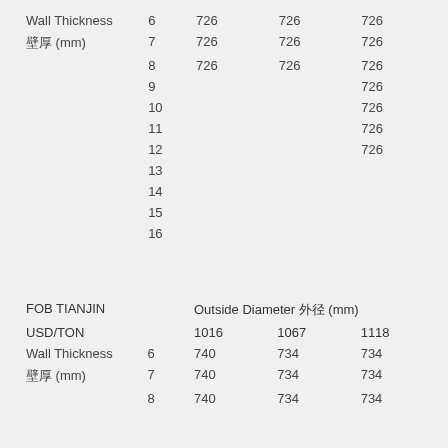|  |  | 726 | 726 | 726 |
| --- | --- | --- | --- | --- |
| Wall Thickness | 6 | 726 | 726 | 726 |
| 壁厚 (mm) | 7 | 726 | 726 | 726 |
|  | 8 | 726 | 726 | 726 |
|  | 9 |  |  | 726 |
|  | 10 |  |  | 726 |
|  | 11 |  |  | 726 |
|  | 12 |  |  | 726 |
|  | 13 |  |  |  |
|  | 14 |  |  |  |
|  | 15 |  |  |  |
|  | 16 |  |  |  |
| FOB TIANJIN USD/TON |  | Outside Diameter 外径 (mm) |  |  |
| --- | --- | --- | --- | --- |
|  |  | 1016 | 1067 | 1118 |
| Wall Thickness | 6 | 740 | 734 | 734 |
| 壁厚 (mm) | 7 | 740 | 734 | 734 |
|  | 8 | 740 | 734 | 734 |